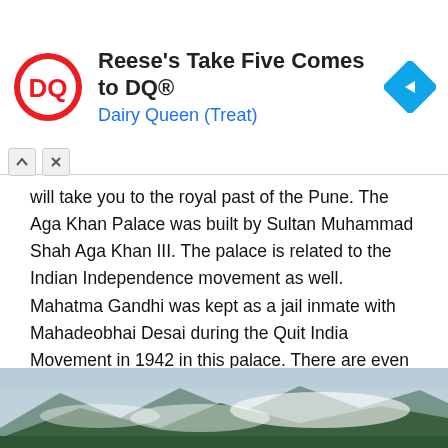[Figure (other): Dairy Queen advertisement banner with DQ logo on left, text 'Reese's Take Five Comes to DQ®' and 'Dairy Queen (Treat)' in blue, and a blue diamond navigation arrow icon on the right.]
will take you to the royal past of the Pune. The Aga Khan Palace was built by Sultan Muhammad Shah Aga Khan III. The palace is related to the Indian Independence movement as well. Mahatma Gandhi was kept as a jail inmate with Mahadeobhai Desai during the Quit India Movement in 1942 in this palace. There are even memorials of Kasturba Gandhi and Mahadeobhai Desai. The palace is surrounded by lush green gardens, making it one of the most sought after historical places in India.
6. Western Ghat:
[Figure (photo): Landscape photograph of the Western Ghats showing green hills covered with mist and clouds against a hazy sky.]